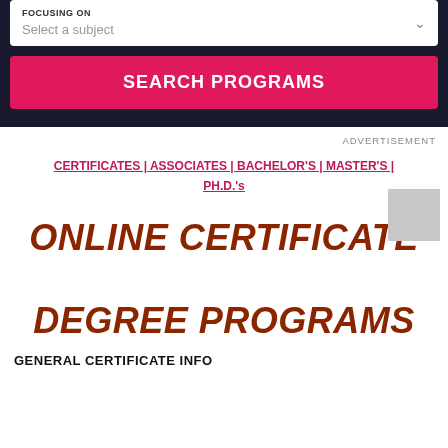[Figure (screenshot): Dark panel with a dropdown select box labeled 'FOCUSING ON' with placeholder 'Select a subject' and a pink 'SEARCH PROGRAMS' button]
ADVERTISEMENT
CERTIFICATES | ASSOCIATES | BACHELOR'S | MASTER'S | PH.D.'s
ONLINE CERTIFICATE DEGREE PROGRAMS
GENERAL CERTIFICATE INFO